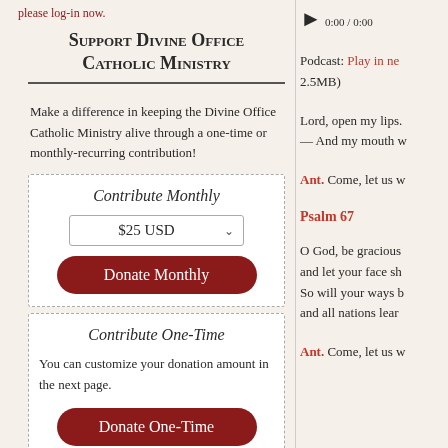please log-in now.
Support Divine Office Catholic Ministry
Make a difference in keeping the Divine Office Catholic Ministry alive through a one-time or monthly-recurring contribution!
Contribute Monthly
$25 USD
Donate Monthly
Contribute One-Time
You can customize your donation amount in the next page.
Donate One-Time
Podcast: Play in ne... 2.5MB)
Lord, open my lips. — And my mouth w...
Ant. Come, let us w...
Psalm 67
O God, be gracious... and let your face sh... So will your ways b... and all nations lear...
Ant. Come, let us w...